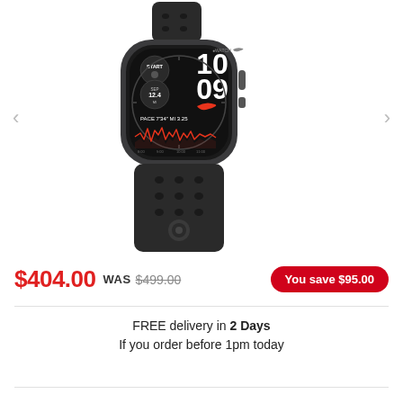[Figure (photo): Apple Watch Nike SE in Space Gray aluminum with black Nike Sport Band, showing workout/running face with pace 7'34" MI 3.25 and heart rate graph]
$404.00 WAS $499.00  You save $95.00
FREE delivery in 2 Days
If you order before 1pm today